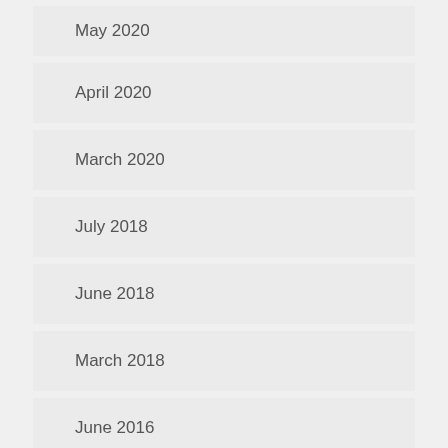May 2020
April 2020
March 2020
July 2018
June 2018
March 2018
June 2016
September 2015